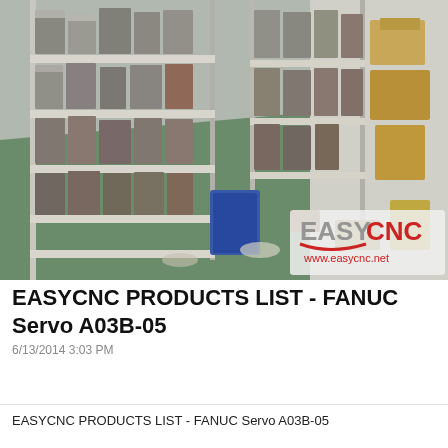[Figure (photo): Warehouse shelving units stacked with FANUC servo drive units and CNC industrial electronic components in plastic wrapping. Green floor visible with boxes and items scattered. EASYCNC logo and www.easycnc.net watermark in bottom right corner of photo.]
EASYCNC PRODUCTS LIST - FANUC Servo A03B-05
6/13/2014 3:03 PM
EASYCNC PRODUCTS LIST - FANUC Servo A03B-05